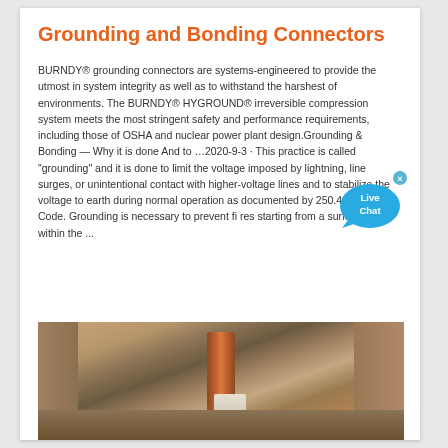Grounding and Bonding Connectors
BURNDY® grounding connectors are systems-engineered to provide the utmost in system integrity as well as to withstand the harshest of environments. The BURNDY® HYGROUND® irreversible compression system meets the most stringent safety and performance requirements, including those of OSHA and nuclear power plant design.Grounding & Bonding — Why it is done And to …2020-9-3 · This practice is called "grounding" and it is done to limit the voltage imposed by lightning, line surges, or unintentional contact with higher-voltage lines and to stabilize the voltage to earth during normal operation as documented by 250.4(A)(1) of the Code. Grounding is necessary to prevent fi res starting from a surface arc within the ...
[Figure (photo): Construction site photo showing grounding connectors and pipes installed in excavated ground with rocky soil surroundings and a white bucket nearby]